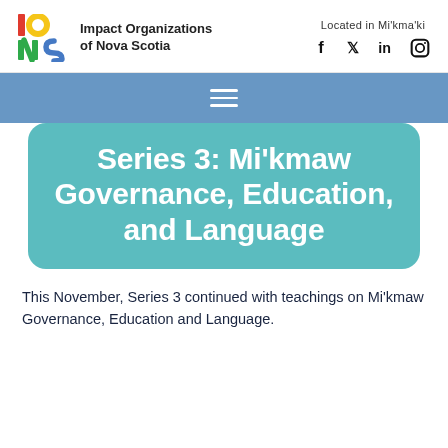Impact Organizations of Nova Scotia | Located in Mi'kma'ki
[Figure (logo): IONS logo with colorful I, O, N, S letters and text 'Impact Organizations of Nova Scotia']
Series 3: Mi'kmaw Governance, Education, and Language
This November, Series 3 continued with teachings on Mi'kmaw Governance, Education and Language.